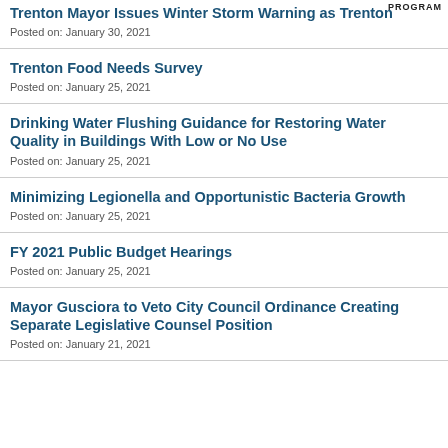PROGRAM
Trenton Mayor Issues Winter Storm Warning as Trenton
Posted on: January 30, 2021
Trenton Food Needs Survey
Posted on: January 25, 2021
Drinking Water Flushing Guidance for Restoring Water Quality in Buildings With Low or No Use
Posted on: January 25, 2021
Minimizing Legionella and Opportunistic Bacteria Growth
Posted on: January 25, 2021
FY 2021 Public Budget Hearings
Posted on: January 25, 2021
Mayor Gusciora to Veto City Council Ordinance Creating Separate Legislative Counsel Position
Posted on: January 21, 2021